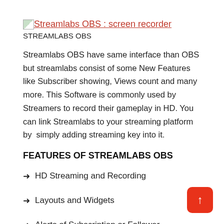[Figure (logo): Small broken image icon followed by a red link 'Streamlabs OBS : screen recorder']
STREAMLABS OBS
Streamlabs OBS have same interface than OBS but streamlabs consist of some New Features like Subscriber showing, Views count and many more. This Software is commonly used by Streamers to record their gameplay in HD. You can link Streamlabs to your streaming platform by  simply adding streaming key into it.
FEATURES OF STREAMLABS OBS
➜ HD Streaming and Recording
➜ Layouts and Widgets
➜ Alerts of Subscription or Follower